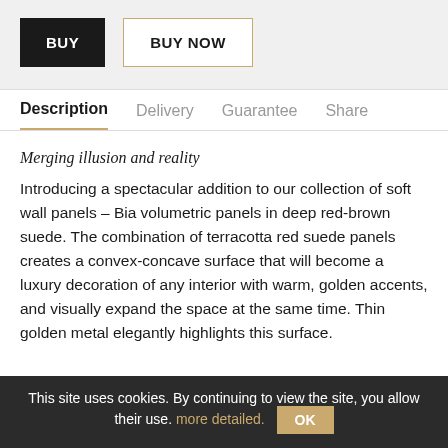BUY
BUY NOW
Description | Delivery | Guarantee | Share
Merging illusion and reality
Introducing a spectacular addition to our collection of soft wall panels – Bia volumetric panels in deep red-brown suede. The combination of terracotta red suede panels creates a convex-concave surface that will become a luxury decoration of any interior with warm, golden accents, and visually expand the space at the same time. Thin golden metal elegantly highlights this surface.
This site uses cookies. By continuing to view the site, you allow their use. more detailed. OK